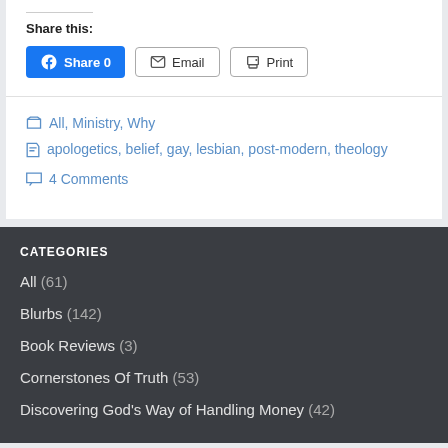Share this:
Share 0  Email  Print
All, Ministry, Why
apologetics, belief, gay, lesbian, post-modern, theology
4 Comments
CATEGORIES
All (61)
Blurbs (142)
Book Reviews (3)
Cornerstones Of Truth (53)
Discovering God's Way of Handling Money (42)